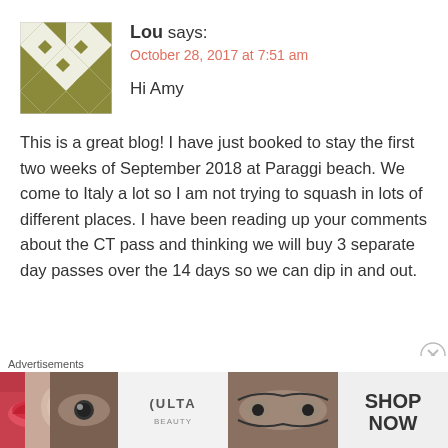[Figure (illustration): Square avatar image with olive/gold and white geometric diamond pattern]
Lou says:
October 28, 2017 at 7:51 am
Hi Amy
This is a great blog! I have just booked to stay the first two weeks of September 2018 at Paraggi beach. We come to Italy a lot so I am not trying to squash in lots of different places. I have been reading up your comments about the CT pass and thinking we will buy 3 separate day passes over the 14 days so we can dip in and out.
Advertisements
[Figure (photo): ULTA beauty advertisement banner showing lips, brush, eye, ULTA logo, eyes, and SHOP NOW text]